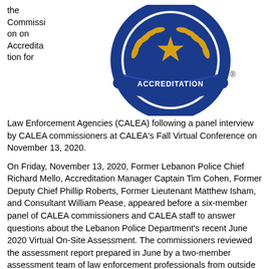[Figure (logo): CALEA (Commission on Accreditation for Law Enforcement Agencies) circular logo in blue and gold with laurel leaves and a star at center, banner reading ACCREDITATION, with a registered trademark symbol]
the Commission on Accreditation for Law Enforcement Agencies (CALEA) following a panel interview by CALEA commissioners at CALEA's Fall Virtual Conference on November 13, 2020.
On Friday, November 13, 2020, Former Lebanon Police Chief Richard Mello, Accreditation Manager Captain Tim Cohen, Former Deputy Chief Phillip Roberts, Former Lieutenant Matthew Isham, and Consultant William Pease, appeared before a six-member panel of CALEA commissioners and CALEA staff to answer questions about the Lebanon Police Department's recent June 2020 Virtual On-Site Assessment. The commissioners reviewed the assessment report prepared in June by a two-member assessment team of law enforcement professionals from outside of New Hampshire, who reviewed department compliance with applicable standards, conducted inspections of our facility with officers, interviewed citizens, and conducted a public hearing